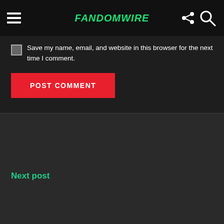FandomWire
Save my name, email, and website in this browser for the next time I comment.
POST COMMENT
Next post